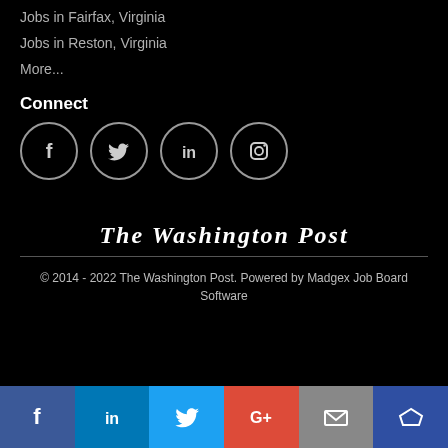Jobs in Fairfax, Virginia
Jobs in Reston, Virginia
More...
Connect
[Figure (infographic): Four social media icon circles: Facebook, Twitter, LinkedIn, Instagram]
[Figure (logo): The Washington Post logo in blackletter/gothic font style]
© 2014 - 2022 The Washington Post. Powered by Madgex Job Board Software
[Figure (infographic): Bottom social share bar with 6 buttons: Facebook (dark blue), LinkedIn (blue), Twitter (light blue), Google+ (red), Email (gray), King/newsletter (dark blue)]